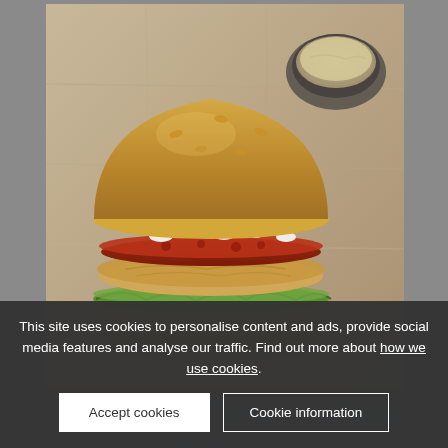[Figure (photo): A chicken, chorizo and feta burger served on a wooden board with a small bowl of sauce in the background. The burger has lettuce, chorizo, chicken patty, and white crumbled feta cheese, with a golden bun.]
Chicken, chorizo & feta burger
This site uses cookies to personalise content and ads, provide social media features and analyse our traffic. Find out more about how we use cookies.